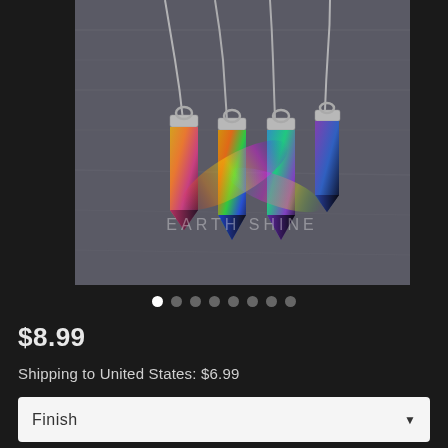[Figure (photo): Four iridescent rainbow crystal point necklaces on silver chains laid on a grey wooden surface. The crystals show multicolor metallic sheen in gold, green, blue, and purple. Watermark reads EARTH SHINE in the center of the image.]
$8.99
Shipping to United States: $6.99
Finish